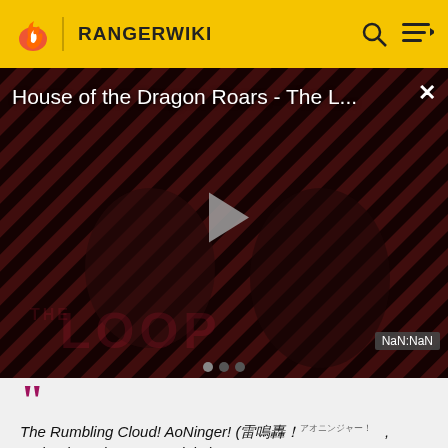RANGERWIKI
[Figure (screenshot): Video player showing 'House of the Dragon Roars - The L...' with a play button overlay, diagonal red/dark stripe background, figures visible in dark overlay, 'THE LOOP' text watermark, and NaN:NaN timestamp badge]
The Rumbling Cloud! AoNinger! (雷鳴轟！アオニンジャー！, Todoroke Yakumo! Ao Ninjā!)